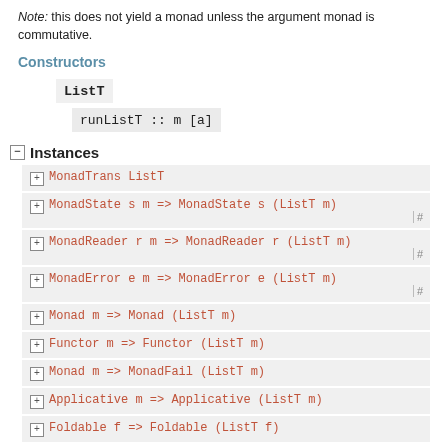Note: this does not yield a monad unless the argument monad is commutative.
Constructors
ListT
runListT :: m [a]
Instances
MonadTrans ListT
MonadState s m => MonadState s (ListT m)
MonadReader r m => MonadReader r (ListT m)
MonadError e m => MonadError e (ListT m)
Monad m => Monad (ListT m)
Functor m => Functor (ListT m)
Monad m => MonadFail (ListT m)
Applicative m => Applicative (ListT m)
Foldable f => Foldable (ListT f)